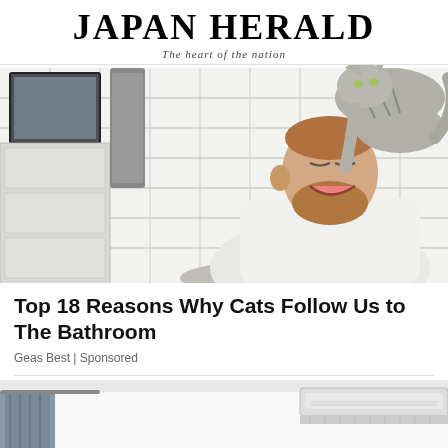Japan Herald — The heart of the nation
[Figure (photo): A man washing his hands at a bathroom sink smiling at a cat that is perched on his shoulder/back, white subway tile walls, mirror, gray towel hanging, bathroom cabinet visible]
Top 18 Reasons Why Cats Follow Us to The Bathroom
Geas Best | Sponsored
[Figure (photo): Interior room with a wall-mounted air conditioning unit on the ceiling, white walls, curtains on the left side]